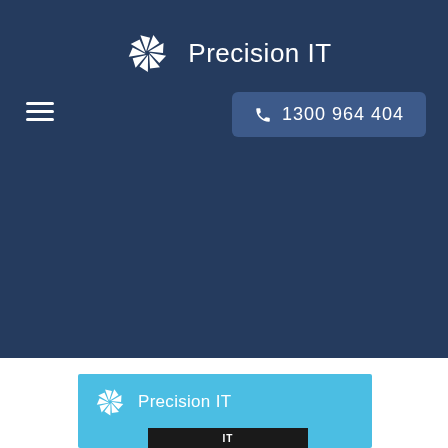[Figure (logo): Precision IT logo with pinwheel/aperture icon in white on dark navy background, text reads 'Precision IT']
≡   1300 964 404
[Figure (logo): Precision IT logo repeated on light blue background near bottom of page]